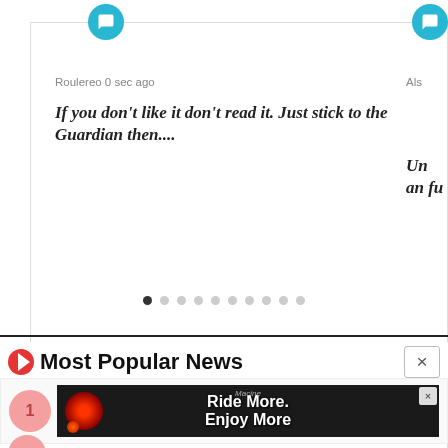Roulereo 0 sec ago
If you don't like it don't read it. Just stick to the Guardian then....
in: Greens: “Anti-cycling narrative” = danger for cyclists
[Figure (other): Pagination dots row, 10 dots with first dot filled dark]
Most Popular News
[Figure (photo): Advertisement banner showing a red bicycle light with text 'Ride More. Enjoy More']